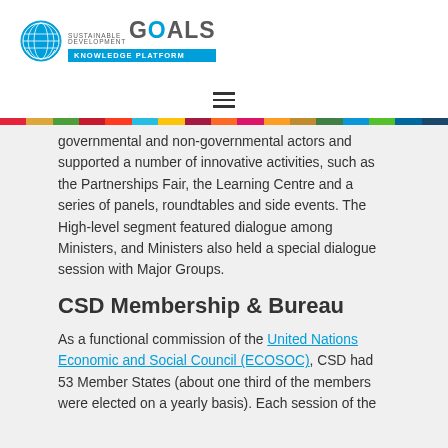Sustainable Development Goals Knowledge Platform
governmental and non-governmental actors and supported a number of innovative activities, such as the Partnerships Fair, the Learning Centre and a series of panels, roundtables and side events. The High-level segment featured dialogue among Ministers, and Ministers also held a special dialogue session with Major Groups.
CSD Membership & Bureau
As a functional commission of the United Nations Economic and Social Council (ECOSOC), CSD had 53 Member States (about one third of the members were elected on a yearly basis). Each session of the CSD also had a Bureau comprising of